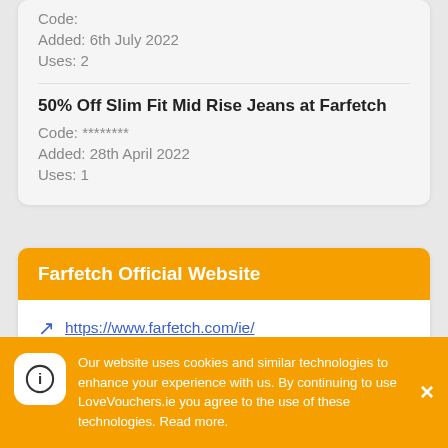Code:
Added: 6th July 2022
Uses: 2
50% Off Slim Fit Mid Rise Jeans at Farfetch
Code: ********
Added: 28th April 2022
Uses: 1
Farfetch Official Website
https://www.farfetch.com/ie/
About Farfetch
Our website uses cookies and similar technologies to enhance your experience with us. By continuing to use LoveVouchers.ie you agree to the use of these technologies. Read more.